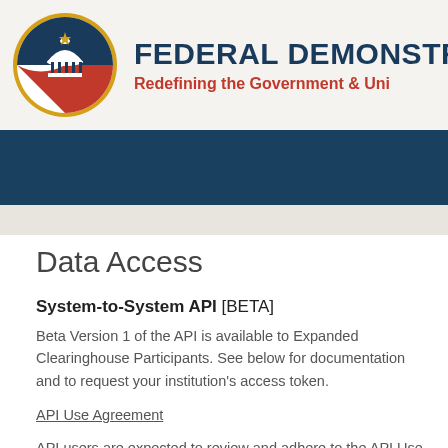[Figure (logo): Federal Demonstration Partnership logo: circular emblem with capitol building, blue and red sections, gold star, with text 'FEDERAL DEMONSTRA...' and subtitle 'Redefining the Government & Uni...']
Data Access
System-to-System API [BETA]
Beta Version 1 of the API is available to Expanded Clearinghouse Participants. See below for documentation and to request your institution's access token.
API Use Agreement
API users are expected to review and adhere to the API Use Agreement, which can be viewed here.